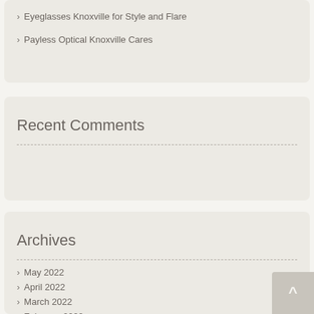Eyeglasses Knoxville for Style and Flare
Payless Optical Knoxville Cares
Recent Comments
Archives
May 2022
April 2022
March 2022
February 2022